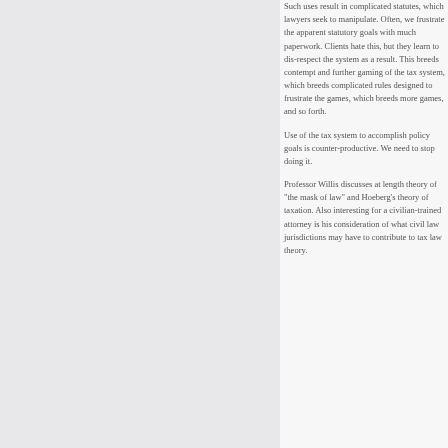Such uses result in complicated statutes, which lawyers seek to manipulate. Often, we frustrate the apparent statutory goals with much paperwork. Clients hate this, but they learn to dis-respect the system as a result. This breeds contempt and further gaming of the tax system, which breeds complicated rules designed to frustrate the games, which breeds more games, and so forth.
Use of the tax system to accomplish policy goals is counter-productive. We need to stop doing it.
Professor Willis discusses at length theory of "the mask of law" and Hoeberg's theory of taxation. Also interesting for a civilian-trained attorney is his consideration of what civil law jurisdictions may have to contribute to tax law theory.